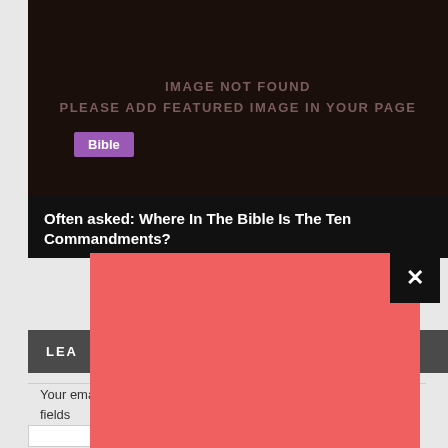[Figure (other): Dark brown/black image placeholder area with text 'IMAGE NOT FOUND PLEASE ADD FEATURED IMAGE IN YOUR PAGE' in muted brownish-red color]
Bible
Often asked: Where In The Bible Is The Ten Commandments?
[Figure (other): Red/salmon colored popup overlay with a black X close button in the top right corner]
LEAVE A REPLY
Your email address will not be published. Required fields are marked *
Comment *